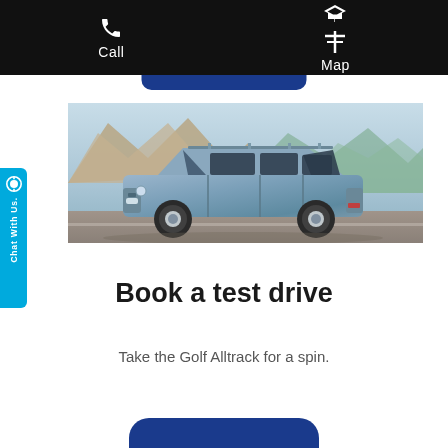Call   Map
[Figure (photo): Blue VW Golf Alltrack station wagon/estate car driving on a road with mountains in the background]
Book a test drive
Take the Golf Alltrack for a spin.